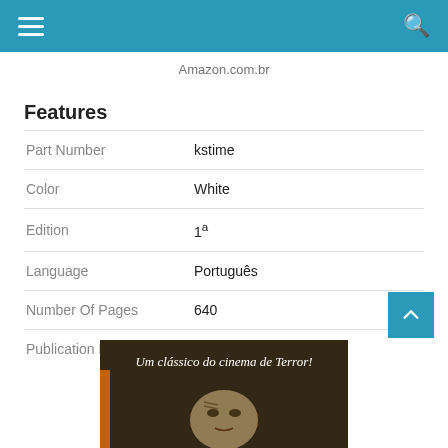Amazon.com.br
Features
| Feature | Value |
| --- | --- |
| Part Number | kstime |
| Color | White |
| Edition | 1ª |
| Language | Português |
| Number Of Pages | 640 |
| Publication Date | 2020-05-28T00:00:01Z |
[Figure (photo): Book advertisement image with text 'Um clássico do cinema de Terror!' and a face partially visible below]